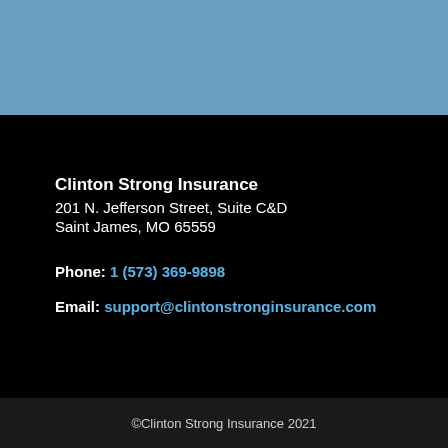Clinton Strong Insurance
201 N. Jefferson Street, Suite C&D
Saint James, MO 65559
Phone: 1 (573) 369-9898
Email: support@clintonstronginsurance.com
©Clinton Strong Insurance 2021